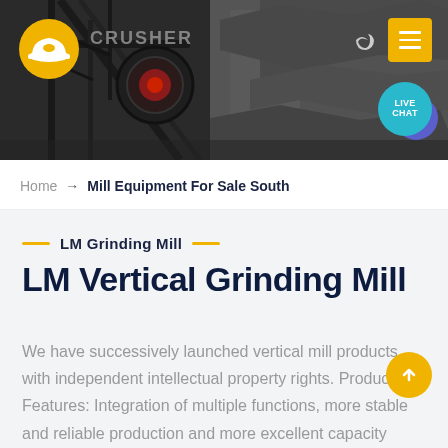[Figure (photo): Industrial mining equipment/crusher machinery photograph used as website header background, dark tones with heavy machinery silhouettes]
CRUSHER logo and navigation bar with moon icon and hamburger menu button
LIVE CHAT
Home → Mill Equipment For Sale South
LM Grinding Mill
LM Vertical Grinding Mill
We have successively launched vertical mill products with independent intellectual property rights. Product Features: Integration of multiple functions, more stable and reliable production and more excellent capacity